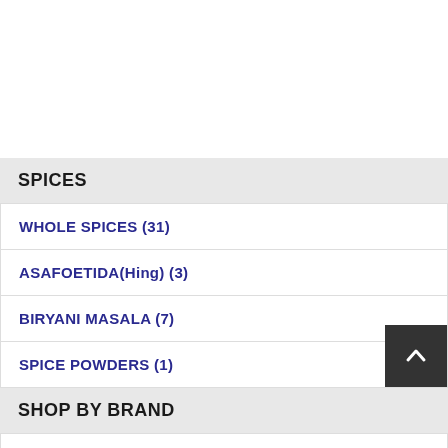SPICES
WHOLE SPICES (31)
ASAFOETIDA(Hing) (3)
BIRYANI MASALA (7)
SPICE POWDERS (1)
SHOP BY BRAND